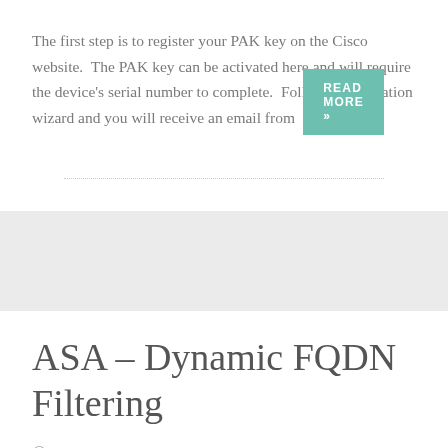The first step is to register your PAK key on the Cisco website.  The PAK key can be activated here and will require the device's serial number to complete.  Follow the activation wizard and you will receive an email from
READ MORE »
ASA – Dynamic FQDN Filtering
DECEMBER 10, 2018